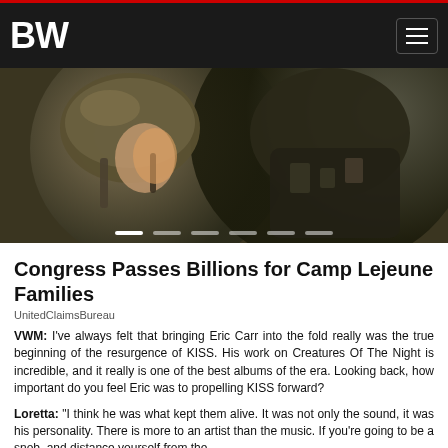BW
[Figure (photo): Military soldier in tactical gear and helmet, close-up action shot]
Congress Passes Billions for Camp Lejeune Families
UnitedClaimsBureau
VWM: I've always felt that bringing Eric Carr into the fold really was the true beginning of the resurgence of KISS. His work on Creatures Of The Night is incredible, and it really is one of the best albums of the era. Looking back, how important do you feel Eric was to propelling KISS forward?
Loretta: "I think he was what kept them alive. It was not only the sound, it was his personality. There is more to an artist than the music. If you're going to be a snob, and distance yourself from the